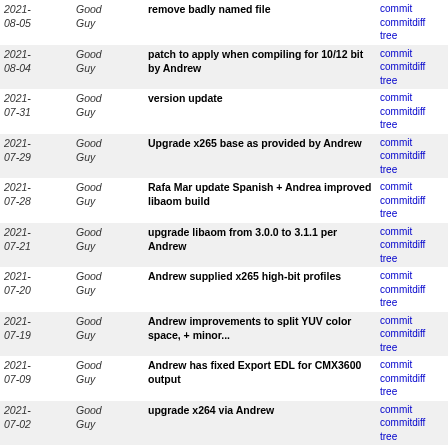| Date | Author | Message | Links |
| --- | --- | --- | --- |
| 2021-08-05 | Good Guy | remove badly named file | commit | commitdiff | tree |
| 2021-08-04 | Good Guy | patch to apply when compiling for 10/12 bit by Andrew | commit | commitdiff | tree |
| 2021-07-31 | Good Guy | version update | commit | commitdiff | tree |
| 2021-07-29 | Good Guy | Upgrade x265 base as provided by Andrew | commit | commitdiff | tree |
| 2021-07-28 | Good Guy | Rafa Mar update Spanish + Andrea improved libaom build | commit | commitdiff | tree |
| 2021-07-21 | Good Guy | upgrade libaom from 3.0.0 to 3.1.1 per Andrew | commit | commitdiff | tree |
| 2021-07-20 | Good Guy | Andrew supplied x265 high-bit profiles | commit | commitdiff | tree |
| 2021-07-19 | Good Guy | Andrew improvements to split YUV color space, + minor... | commit | commitdiff | tree |
| 2021-07-09 | Good Guy | Andrew has fixed Export EDL for CMX3600 output | commit | commitdiff | tree |
| 2021-07-02 | Good Guy | upgrade x264 via Andrew | commit | commitdiff | tree |
| 2021-06-30 | Good Guy | addition render formats + update about msg | commit | commitdiff | tree |
| 2021-06-25 | Good Guy | remove old openjpeg which was upgrade awhile back | commit | commitdiff | tree |
| 2021-06-25 | Good Guy | upgrade libjpeg-turbo as proposed by Andrew | commit | commitdiff | tree |